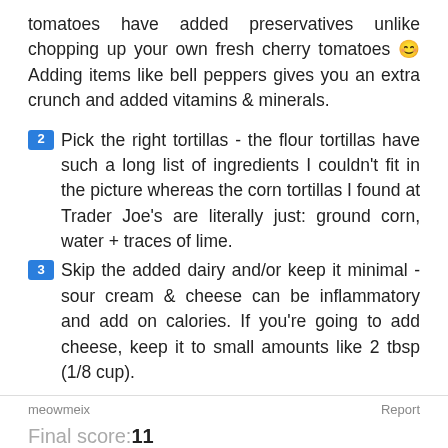tomatoes have added preservatives unlike chopping up your own fresh cherry tomatoes 😊 Adding items like bell peppers gives you an extra crunch and added vitamins & minerals.
2 Pick the right tortillas - the flour tortillas have such a long list of ingredients I couldn't fit in the picture whereas the corn tortillas I found at Trader Joe's are literally just: ground corn, water + traces of lime.
3 Skip the added dairy and/or keep it minimal - sour cream & cheese can be inflammatory and add on calories. If you're going to add cheese, keep it to small amounts like 2 tbsp (1/8 cup).
meowmeix   Report
Final score:11
Add a comment   POST